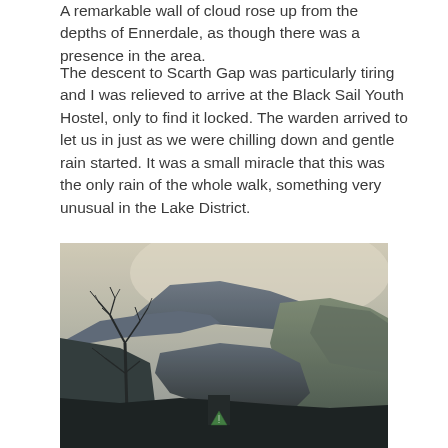A remarkable wall of cloud rose up from the depths of Ennerdale, as though there was a presence in the area.
The descent to Scarth Gap was particularly tiring and I was relieved to arrive at the Black Sail Youth Hostel, only to find it locked. The warden arrived to let us in just as we were chilling down and gentle rain started. It was a small miracle that this was the only rain of the whole walk, something very unusual in the Lake District.
[Figure (photo): A landscape photograph showing mountains and hills under a pale, misty sky. Bare winter trees are visible in the foreground on the left side. A small green triangular sign is visible in the lower middle of the image. The scene depicts a valley with rolling hills leading up to a large mountain ridge, with muted blue-grey and green tones.]